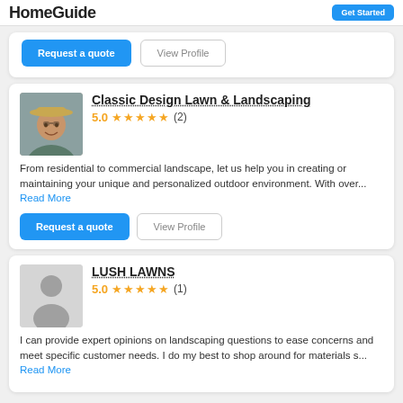HomeGuide | Get Started
Request a quote | View Profile
[Figure (photo): Portrait photo of a man wearing a wide-brim hat, smiling outdoors]
Classic Design Lawn & Landscaping
5.0 ★★★★★ (2)
From residential to commercial landscape, let us help you in creating or maintaining your unique and personalized outdoor environment. With over... Read More
Request a quote | View Profile
[Figure (illustration): Generic gray placeholder avatar silhouette]
LUSH LAWNS
5.0 ★★★★★ (1)
I can provide expert opinions on landscaping questions to ease concerns and meet specific customer needs. I do my best to shop around for materials s... Read More